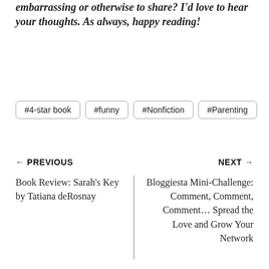embarrassing or otherwise to share? I'd love to hear your thoughts. As always, happy reading!
#4-star book
#funny
#Nonfiction
#Parenting
← PREVIOUS
NEXT →
Book Review: Sarah's Key by Tatiana deRosnay
Bloggiesta Mini-Challenge: Comment, Comment, Comment… Spread the Love and Grow Your Network